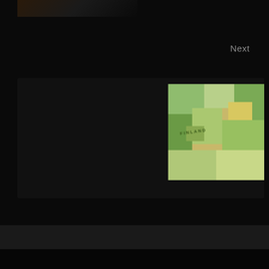[Figure (photo): Partial dark image visible at top left corner of page]
Next
The Evolution of Online Gaming in Finland
[Figure (map): Thumbnail map image showing Finland region with terrain colors]
Leave a Reply
Your email address will not be published. Required fields are marked *
Comment *